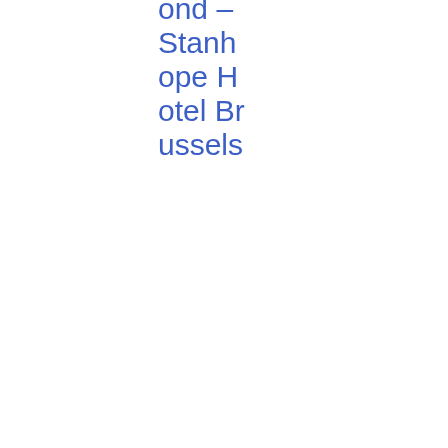ond – Stanhope Hotel Brussels
| Date | Reference | Title | Tags | Type | File |
| --- | --- | --- | --- | --- | --- |
| 19/07/2017 | ESMA 50-164-820 | Regulatory Technology: Reshaping the Supervisor- | Innovation and Products, Speeches | Speech | PDF 25 1.54 KB |